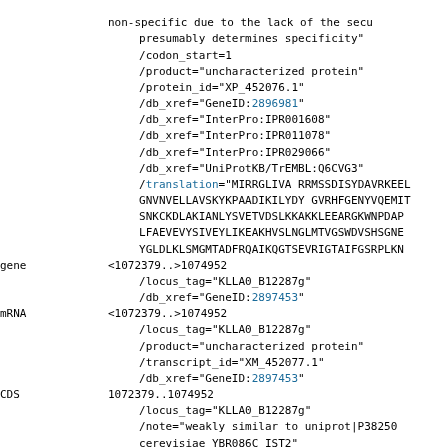GenBank flat file annotation excerpt showing gene, mRNA, and CDS features for KLLA0_B12287g including qualifiers for locus_tag, product, protein_id, db_xref, codon_start, note, and translation.